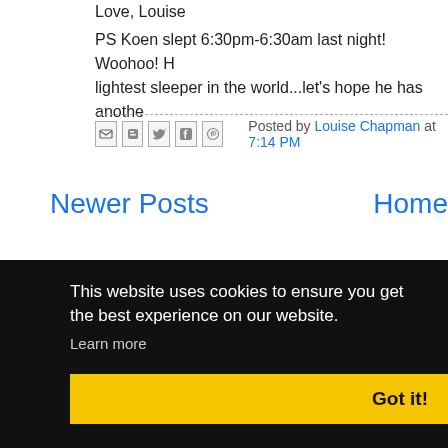Love, Louise
PS Koen slept 6:30pm-6:30am last night! Woohoo! H lightest sleeper in the world...let's hope he has anothe
Posted by Louise Chapman at 7:14 PM
Newer Posts
Home
Subscribe to: Posts (Atom)
This website uses cookies to ensure you get the best experience on our website.
Learn more
Got it!